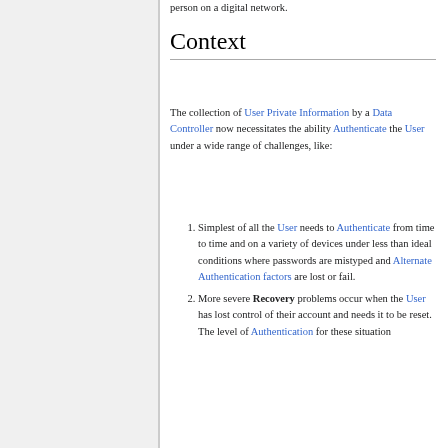person on a digital network.
Context
The collection of User Private Information by a Data Controller now necessitates the ability Authenticate the User under a wide range of challenges, like:
Simplest of all the User needs to Authenticate from time to time and on a variety of devices under less than ideal conditions where passwords are mistyped and Alternate Authentication factors are lost or fail.
More severe Recovery problems occur when the User has lost control of their account and needs it to be reset. The level of Authentication for these situation